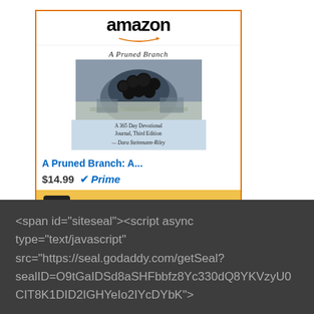[Figure (other): Amazon product widget showing a book titled 'A Pruned Branch: A...' priced at $14.99 with Prime badge and a 'Shop now' button. The widget has Amazon branding at the top with the orange arrow logo.]
<span id="siteseal"><script async type="text/javascript" src="https://seal.godaddy.com/getSeal?sealID=O9tGaIDSd8aSHFbbfz8Yc330dQ8YKVzyU0CIT8K1DID2IGHYeIo2IYcDYbK">